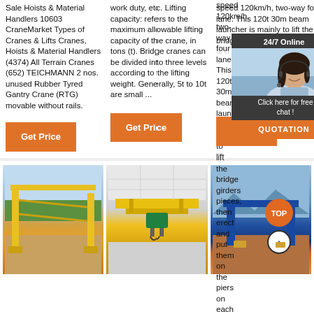Sale Hoists & Material Handlers 10603 CraneMarket Types of Cranes & Lifts Cranes, Hoists & Material Handlers (4374) All Terrain Cranes (652) TEICHMANN 2 nos. unused Rubber Tyred Gantry Crane (RTG) movable without rails.
work duty, etc. Lifting capacity: refers to the maximum allowable lifting capacity of the crane, in tons (t). Bridge cranes can be divided into three levels according to the lifting weight. Generally, 5t to 10t are small ...
speed 120km/h, two-way four lane. This 120t 30m beam launcher is mainly to lift the bridge girders pieces, then erect and put them on the piers on each bridge span by Beam Launcher. Beam L... widely used in highway...
[Figure (screenshot): 24/7 Online chat overlay with customer service representative photo and QUOTATION button]
[Figure (photo): Yellow gantry crane in outdoor industrial yard]
[Figure (photo): Yellow overhead bridge crane with green hoist in warehouse interior]
[Figure (photo): Blue gantry crane with TOP logo and circular navigation icon]